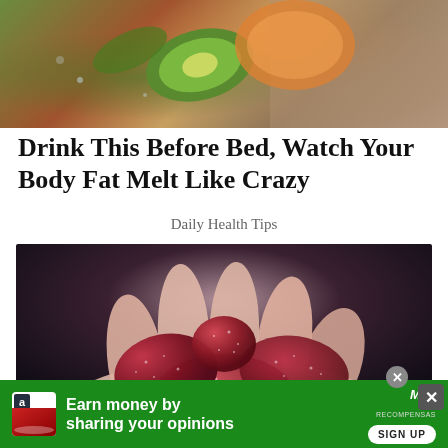[Figure (photo): Top portion of a food/drink photo showing kiwi slices, orange/melon pieces on a textured surface]
Drink This Before Bed, Watch Your Body Fat Melt Like Crazy
Daily Health Tips
[Figure (photo): A hand holding several dark red/maroon sugar-coated gummy candies against a dark background]
[Figure (other): Advertisement banner: green background with Amazon icon, text 'Earn money by sharing your opinions', Mysurvey/Mconpensas brand logo and SIGN UP button. Close buttons visible.]